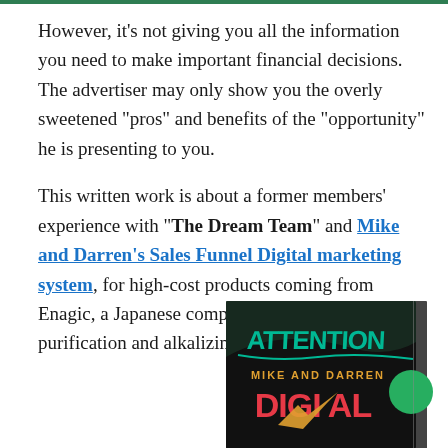However, it's not giving you all the information you need to make important financial decisions. The advertiser may only show you the overly sweetened "pros" and benefits of the "opportunity" he is presenting to you.
This written work is about a former members' experience with "The Dream Team" and Mike and Darren's Sales Funnel Digital marketing system, for high-cost products coming from Enagic, a Japanese company specializing in water purification and alkalizing machines.
[Figure (illustration): Book cover showing 'ATTENTION MIKE AND DARREN DIGITAL' text on a dark background with teal and red lettering, with a green circle badge on the right side]